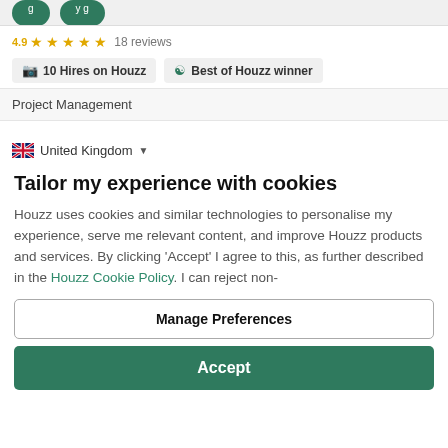10 Hires on Houzz | Best of Houzz winner
10 reviews (star rating)
10 Hires on Houzz | Best of Houzz winner
Project Management
United Kingdom
Tailor my experience with cookies
Houzz uses cookies and similar technologies to personalise my experience, serve me relevant content, and improve Houzz products and services. By clicking 'Accept' I agree to this, as further described in the Houzz Cookie Policy. I can reject non-
Manage Preferences
Accept